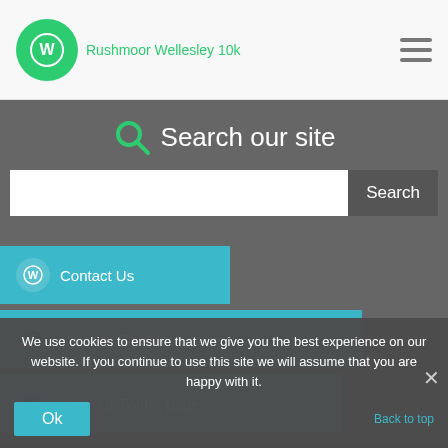Rushmoor Wellesley 10k
Search our site
Search
Contact Us
Visit our Facebook page
Visit our Twitter page
© 2022 Rushmoor Wellesley 10k · Powered by · Designed with the Customizr Theme
We use cookies to ensure that we give you the best experience on our website. If you continue to use this site we will assume that you are happy with it.
Ok
Back to top